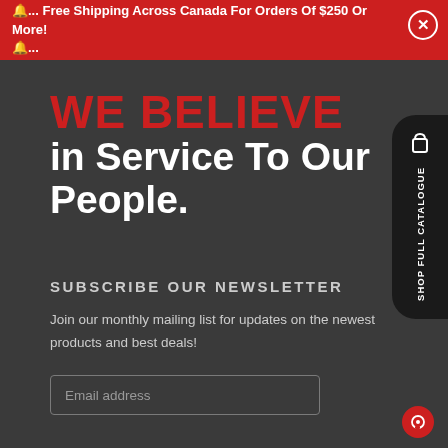🔔... Free Shipping Across Canada For Orders Of $250 Or More!
🔔...
WE BELIEVE in Service To Our People.
SUBSCRIBE OUR NEWSLETTER
Join our monthly mailing list for updates on the newest products and best deals!
Email address